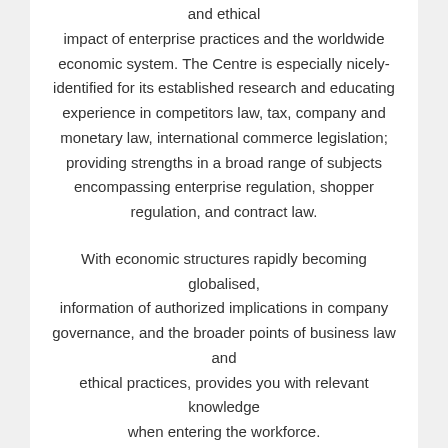and ethical impact of enterprise practices and the worldwide economic system. The Centre is especially nicely-identified for its established research and educating experience in competitors law, tax, company and monetary law, international commerce legislation; providing strengths in a broad range of subjects encompassing enterprise regulation, shopper regulation, and contract law.
With economic structures rapidly becoming globalised, information of authorized implications in company governance, and the broader points of business law and ethical practices, provides you with relevant knowledge when entering the workforce.
While this major doesn't qualify you to practise as a